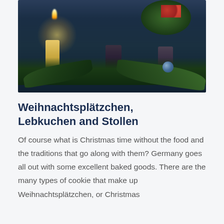[Figure (photo): Christmas Advent wreath photo showing candles (one lit, glowing brightly), dark pillar candles, pine branches, red berries, and a blue ornament ball against a dark blue background.]
Weihnachtsplätzchen, Lebkuchen and Stollen
Of course what is Christmas time without the food and the traditions that go along with them? Germany goes all out with some excellent baked goods. There are the many types of cookie that make up Weihnachtsplätzchen, or Christmas